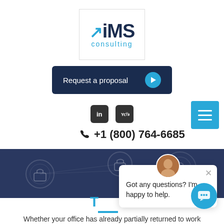[Figure (logo): iMS consulting logo — dark navy text 'iMS' with blue arrow accent and 'consulting' in light blue below]
[Figure (other): Dark navy button with text 'Request a proposal' and a cyan circle play icon on the right]
[Figure (other): LinkedIn and YouTube social media icons in dark square rounded badges]
[Figure (other): Cyan/teal hamburger menu button (three horizontal lines) in top right]
+1 (800) 764-6685
[Figure (photo): Dark blue banner with network security lock icons interconnected]
[Figure (other): Chat popup with avatar photo of a man, close X button, and text 'Got any questions? I'm happy to help.']
[Figure (other): Cyan circle chat bubble button in bottom right corner]
Whether your office has already partially returned to work